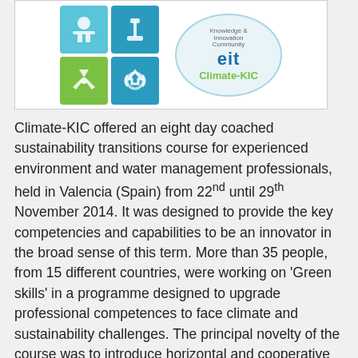[Figure (logo): Climate-KIC logo: grid of four colored icons (people, tools, radioactive, recycle arrows) alongside an EIT Knowledge Innovation Community Climate-KIC oval logo]
Climate-KIC offered an eight day coached sustainability transitions course for experienced environment and water management professionals, held in Valencia (Spain) from 22nd until 29th November 2014. It was designed to provide the key competencies and capabilities to be an innovator in the broad sense of this term. More than 35 people, from 15 different countries, were working on 'Green skills' in a programme designed to upgrade professional competences to face climate and sustainability challenges. The principal novelty of the course was to introduce horizontal and cooperative methods of working, involving low-profile hierarchies and greater autonomy. Hence, participants were collaborating hand-by-hand with international, regional